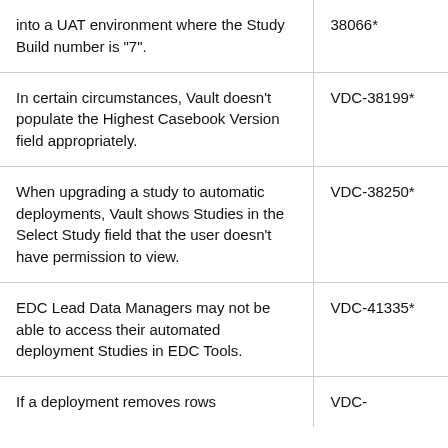| into a UAT environment where the Study Build number is "7". | 38066* |
| In certain circumstances, Vault doesn't populate the Highest Casebook Version field appropriately. | VDC-38199* |
| When upgrading a study to automatic deployments, Vault shows Studies in the Select Study field that the user doesn't have permission to view. | VDC-38250* |
| EDC Lead Data Managers may not be able to access their automated deployment Studies in EDC Tools. | VDC-41335* |
| If a deployment removes rows | VDC- |